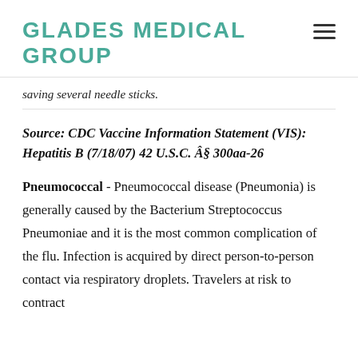GLADES MEDICAL GROUP
saving several needle sticks.
Source: CDC Vaccine Information Statement (VIS): Hepatitis B (7/18/07) 42 U.S.C. §300aa-26
Pneumococcal - Pneumococcal disease (Pneumonia) is generally caused by the Bacterium Streptococcus Pneumoniae and it is the most common complication of the flu. Infection is acquired by direct person-to-person contact via respiratory droplets. Travelers at risk to contract